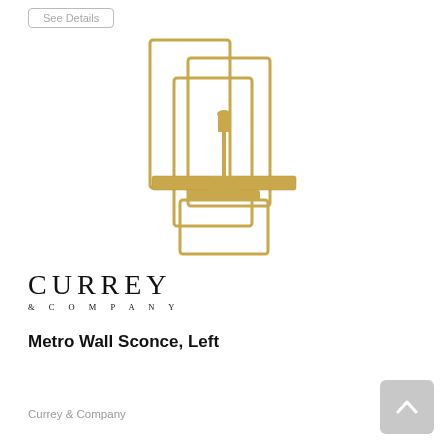See Details
[Figure (photo): Gold/brass Metro Wall Sconce (Left) by Currey & Company. The fixture features nested rectangular wire frames in a brushed gold finish, mounted on a wall plate, with a central candle-style socket.]
[Figure (logo): Currey & Company logo in serif font with 'CURREY' in large letters and '& COMPANY' in small spaced letters beneath]
Metro Wall Sconce, Left
Currey & Company